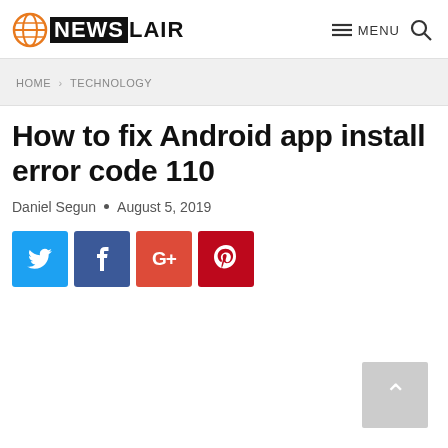NEWSLAIR — MENU
HOME > TECHNOLOGY
How to fix Android app install error code 110
Daniel Segun • August 5, 2019
[Figure (other): Social sharing buttons: Twitter (blue), Facebook (dark blue), Google+ (red-orange), Pinterest (dark red)]
[Figure (other): Back to top button — grey square with white upward chevron arrow]